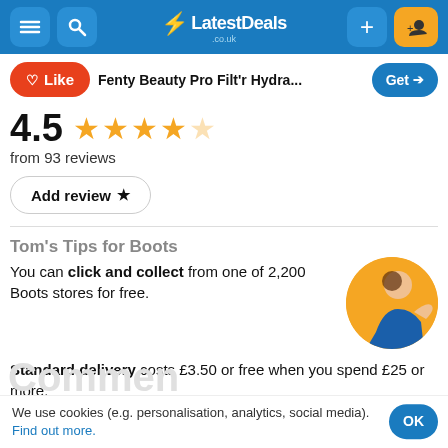LatestDeals.co.uk
Like | Fenty Beauty Pro Filt'r Hydra... | Get
4.5 from 93 reviews
Add review ★
Tom's Tips for Boots
You can click and collect from one of 2,200 Boots stores for free.
Standard delivery costs £3.50 or free when you spend £25 or more.
We use cookies (e.g. personalisation, analytics, social media). Find out more.